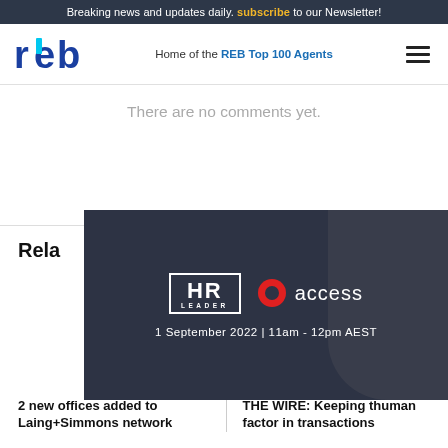Breaking news and updates daily. subscribe to our Newsletter!
[Figure (logo): REB logo - letters r, e, b in blue with cyan accent]
Home of the REB Top 100 Agents
There are no comments yet.
Rela
[Figure (infographic): HR Leader | access event banner. 1 September 2022 | 11am - 12pm AEST]
2 new offices added to Laing+Simmons network
THE WIRE: Keeping the human factor in transactions